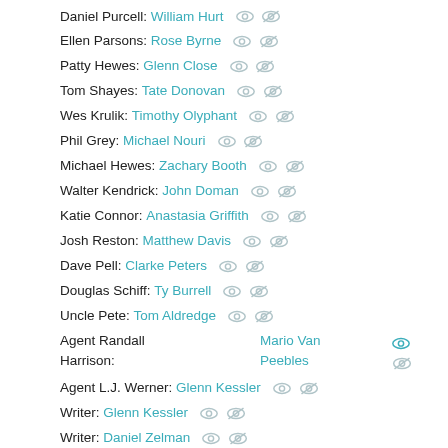Daniel Purcell: William Hurt
Ellen Parsons: Rose Byrne
Patty Hewes: Glenn Close
Tom Shayes: Tate Donovan
Wes Krulik: Timothy Olyphant
Phil Grey: Michael Nouri
Michael Hewes: Zachary Booth
Walter Kendrick: John Doman
Katie Connor: Anastasia Griffith
Josh Reston: Matthew Davis
Dave Pell: Clarke Peters
Douglas Schiff: Ty Burrell
Uncle Pete: Tom Aldredge
Agent Randall Harrison: Mario Van Peebles
Agent L.J. Werner: Glenn Kessler
Writer: Glenn Kessler
Writer: Daniel Zelman
Writer: Todd A Kessler